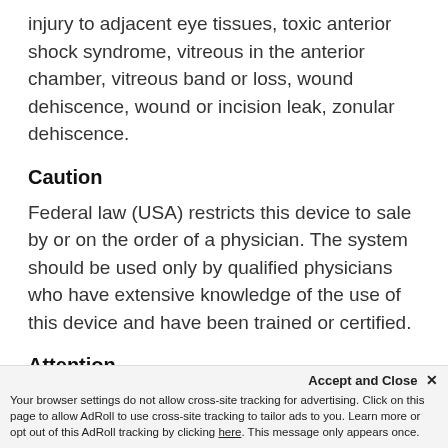injury to adjacent eye tissues, toxic anterior shock syndrome, vitreous in the anterior chamber, vitreous band or loss, wound dehiscence, wound or incision leak, zonular dehiscence.
Caution
Federal law (USA) restricts this device to sale by or on the order of a physician. The system should be used only by qualified physicians who have extensive knowledge of the use of this device and have been trained or certified.
Attention
Reference the Directions for Use for a complete listing of indications, warnings, and prec
Accept and Close ×
Your browser settings do not allow cross-site tracking for advertising. Click on this page to allow AdRoll to use cross-site tracking to tailor ads to you. Learn more or opt out of this AdRoll tracking by clicking here. This message only appears once.